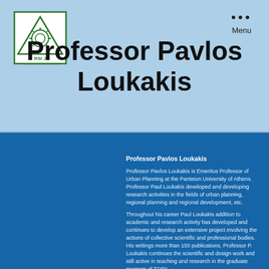[Figure (logo): RSI J foundation logo - green triangle with gear/wheel symbol, text RSIJ and FOUNDATION YEAR 2009]
••• Menu
Professor Pavlos Loukakis
Professor Pavlos Loukakis
Professor Pavlos Loukakis is Emeritus Professor of Urban Planning at the Panteion University of Athens. Professor Paul Loukakis developed and developing research activities in the fields of urban planning, regional planning and regional development, etc.
Throughout his career Paul Loukakis addition to academic and research activity has developed and continues to develop an extensive project involving the actions of collective scientific and professional bodies. His writings more than 150 publications. Professor P. Loukakis continues the scientific and design work and still active in teaching and research in the graduate program of TOPA.